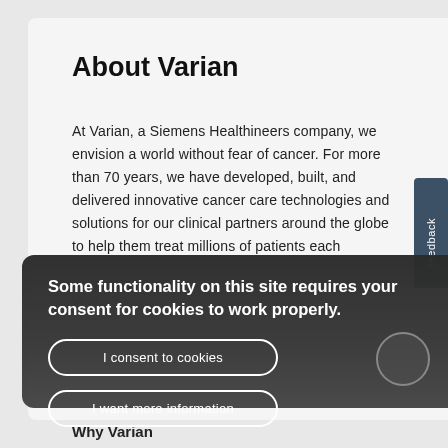About Varian
At Varian, a Siemens Healthineers company, we envision a world without fear of cancer. For more than 70 years, we have developed, built, and delivered innovative cancer care technologies and solutions for our clinical partners around the globe to help them treat millions of patients each year.
Some functionality on this site requires your consent for cookies to work properly.
I consent to cookies
I want more information
Why Varian